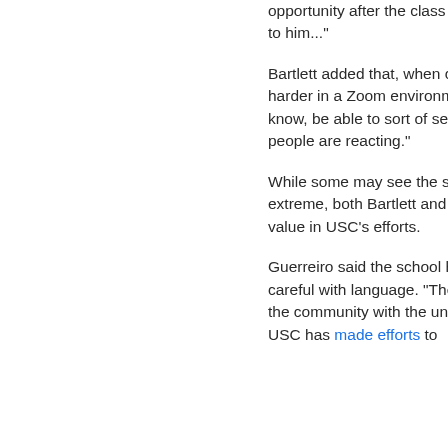opportunity after the class perhaps to come up and talk to him...
Bartlett added that, when communicating by video "it's harder in a Zoom environment to read the room, to, you know, be able to sort of sense what people are, how people are reacting."
While some may see the student group's reaction as extreme, both Bartlett and Guerreiro said there was value in USC's efforts.
Guerreiro said the school has learned about being more careful with language. "There are some grievances of the community with the university," he said, adding that USC has made efforts to